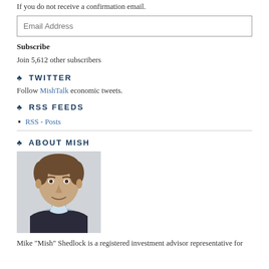If you do not receive a confirmation email.
Email Address
Subscribe
Join 5,612 other subscribers
♣ TWITTER
Follow MishTalk economic tweets.
♣ RSS FEEDS
RSS - Posts
♣ ABOUT MISH
[Figure (photo): Headshot photo of Mike 'Mish' Shedlock, a middle-aged man with short brown hair, wearing a dark blazer and light blue shirt, smiling against a light background.]
Mike "Mish" Shedlock is a registered investment advisor representative for